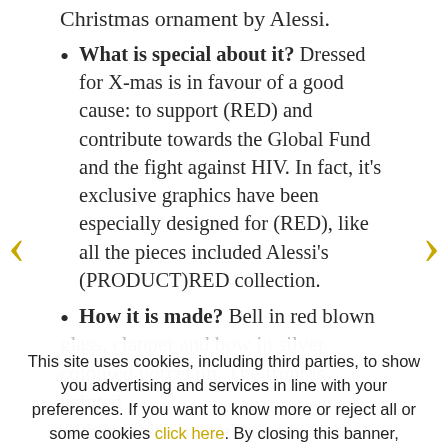Christmas ornament by Alessi.
What is special about it? Dressed for X-mas is in favour of a good cause: to support (RED) and contribute towards the Global Fund and the fight against HIV. In fact, it's exclusive graphics have been especially designed for (RED), like all the pieces included Alessi's (PRODUCT)RED collection.
How it is made? Bell in red blown glass, clapper and bow in silver coloured porcelain. The front is painted withon white enamel heart in between...
This site uses cookies, including third parties, to show you advertising and services in line with your preferences. If you want to know more or reject all or some cookies click here. By closing this banner, scrolling this page or clicking any element of it, you accept the use of cookies.
OK